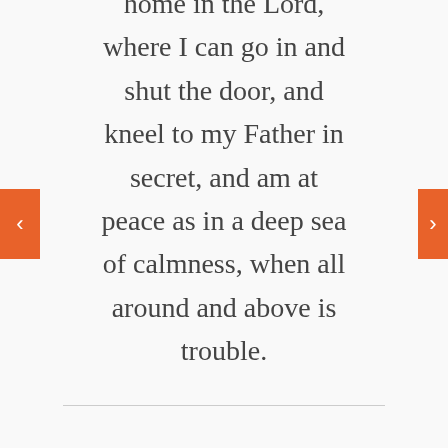home in the Lord, where I can go in and shut the door, and kneel to my Father in secret, and am at peace as in a deep sea of calmness, when all around and above is trouble.